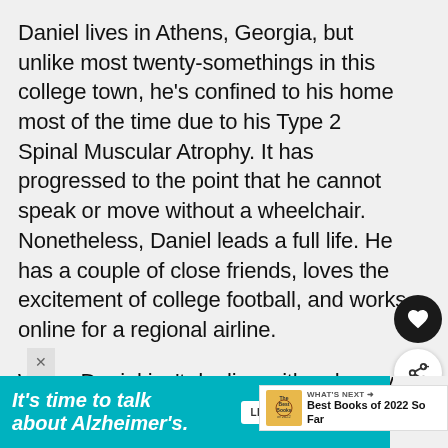Daniel lives in Athens, Georgia, but unlike most twenty-somethings in this college town, he's confined to his home most of the time due to his Type 2 Spinal Muscular Atrophy. It has progressed to the point that he cannot speak or move without a wheelchair. Nonetheless, Daniel leads a full life. He has a couple of close friends, loves the excitement of college football, and works online for a regional airline.
When Daniel isn't dealing with unhappy airline customers, he spends hours
[Figure (other): Heart icon button (favorite) and share icon button on right sidebar]
[Figure (other): WHAT'S NEXT promotional box showing Best Books of 2022 So Far]
[Figure (other): Advertisement banner: It's time to talk about Alzheimer's. with LEARN MORE button and Alzheimer's Association logo]